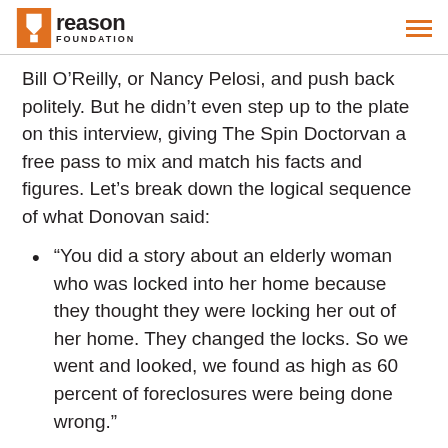Reason Foundation
Bill O’Reilly, or Nancy Pelosi, and push back politely. But he didn’t even step up to the plate on this interview, giving The Spin Doctorvan a free pass to mix and match his facts and figures. Let’s break down the logical sequence of what Donovan said:
“You did a story about an elderly woman who was locked into her home because they thought they were locking her out of her home. They changed the locks. So we went and looked, we found as high as 60 percent of foreclosures were being done wrong.”
Okay, here is the first misdirection. They way Donovan sets it up, 60 percent of foreclosures